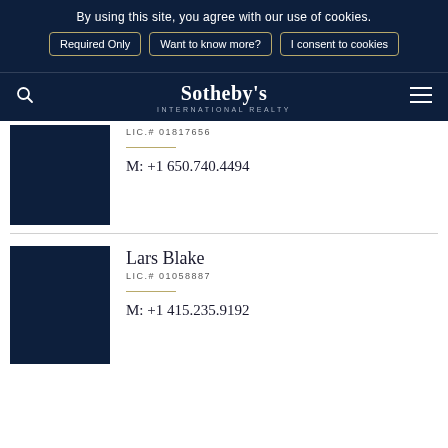By using this site, you agree with our use of cookies.
Required Only | Want to know more? | I consent to cookies
Sotheby's INTERNATIONAL REALTY
LIC.# 01817656
M: +1 650.740.4494
Lars Blake
LIC.# 01058887
M: +1 415.235.9192